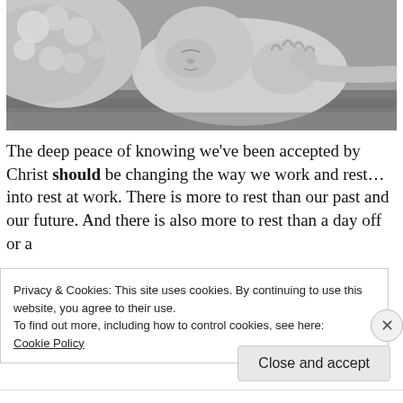[Figure (photo): Black and white close-up photo of a sleeping newborn baby with a textured knit blanket, hands visible, lying on a woven fabric surface.]
The deep peace of knowing we’ve been accepted by Christ should be changing the way we work and rest… into rest at work.  There is more to rest than our past and our future.  And there is also more to rest than a day off or a
Privacy & Cookies: This site uses cookies. By continuing to use this website, you agree to their use.
To find out more, including how to control cookies, see here:
Cookie Policy
Close and accept